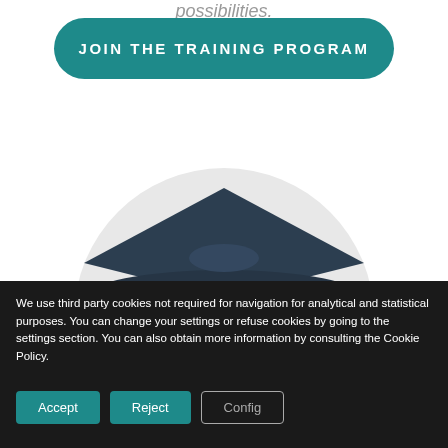possibilities.
JOIN THE TRAINING PROGRAM
[Figure (illustration): Illustration of a graduation cap on a light grey circular background, partially cut off at the bottom of the visible area.]
We use third party cookies not required for navigation for analytical and statistical purposes. You can change your settings or refuse cookies by going to the settings section. You can also obtain more information by consulting the Cookie Policy.
Accept
Reject
Config